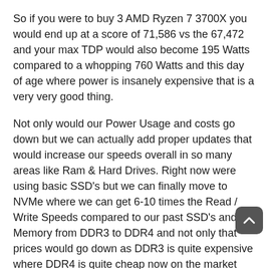So if you were to buy 3 AMD Ryzen 7 3700X you would end up at a score of 71,586 vs the 67,472 and your max TDP would also become 195 Watts compared to a whopping 760 Watts and this day of age where power is insanely expensive that is a very very good thing.
Not only would our Power Usage and costs go down but we can actually add proper updates that would increase our speeds overall in so many areas like Ram & Hard Drives. Right now were using basic SSD's but we can finally move to NVMe where we can get 6-10 times the Read / Write Speeds compared to our past SSD's and our Memory from DDR3 to DDR4 and not only that prices would go down as DDR3 is quite expensive where DDR4 is quite cheap now on the market and continuing to drop.
With this setup as well we be able to fit in 4x16GB of Ram so each box could be running 64 Gigs of Ram and that is quite awesome for our ram needs and usage. Compared to our current Mix of 8-24 Gigs we have now due to costs and lack of decent supply of DDR3 on the market.